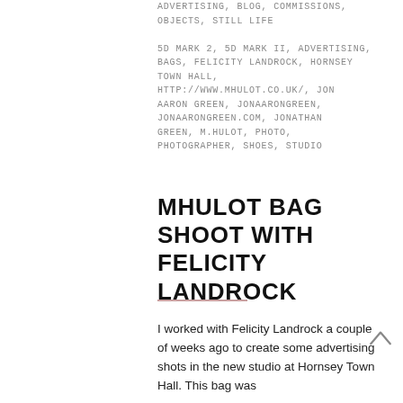ADVERTISING, BLOG, COMMISSIONS, OBJECTS, STILL LIFE
5D MARK 2, 5D MARK II, ADVERTISING, BAGS, FELICITY LANDROCK, HORNSEY TOWN HALL,
HTTP://WWW.MHULOT.CO.UK/, JON AARON GREEN, JONAARONGREEN, JONAARONGREEN.COM, JONATHAN GREEN, M.HULOT, PHOTO, PHOTOGRAPHER, SHOES, STUDIO
MHULOT BAG SHOOT WITH FELICITY LANDROCK
I worked with Felicity Landrock a couple of weeks ago to create some advertising shots in the new studio at Hornsey Town Hall. This bag was